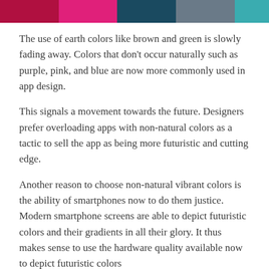[Figure (other): Horizontal color bar with five segments: dark red/crimson, hot pink/magenta, dark teal/navy, slate gray, and teal/cyan]
The use of earth colors like brown and green is slowly fading away. Colors that don't occur naturally such as purple, pink, and blue are now more commonly used in app design.
This signals a movement towards the future. Designers prefer overloading apps with non-natural colors as a tactic to sell the app as being more futuristic and cutting edge.
Another reason to choose non-natural vibrant colors is the ability of smartphones now to do them justice. Modern smartphone screens are able to depict futuristic colors and their gradients in all their glory. It thus makes sense to use the hardware quality available now to depict futuristic colors
How to design an app on AppMySite?